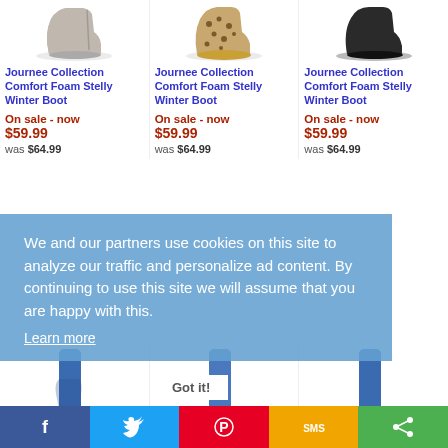[Figure (photo): Grey/taupe ankle boot with zipper]
[Figure (photo): Leopard print ankle boot with tan sole]
[Figure (photo): Black suede ankle boot]
Journee Collection Comfort Foam Stelly Winter Boot
Journee Collection Comfort Foam Stelly Winter Boot
Journee Collection Comfort Foam Stelly Winter Boot
On sale - now
$59.99
was $64.99
On sale - now
$59.99
was $64.99
On sale - now
$59.99
was $64.99
We and our partners use cookies on this site to analyze our traffic and personalize ad content. By continuing to use this site we will assume that you are happy with this.
Learn more
Got it!
[Figure (photo): Blue tall boot - left]
[Figure (photo): Blue tall boot - center]
[Figure (photo): Blue tall boot - right]
Journee Collection Rebecca-02 Boot
Journee Collection Rebecca-02 Boot Wide Calf
Journee Collection Rebecca-02 Boot Wide Calf
On sale - now
Facebook | Twitter | Pinterest | SMS | Share